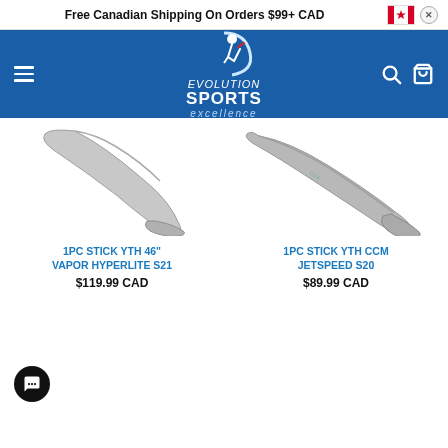Free Canadian Shipping On Orders $99+ CAD
[Figure (screenshot): Evolution Sports Excellence logo with hockey figure on blue navigation bar]
[Figure (photo): Youth hockey stick - 1PC STICK YTH 46" VAPOR HYPERLITE S21]
1PC STICK YTH 46" VAPOR HYPERLITE S21
$119.99 CAD
[Figure (photo): Youth hockey stick - 1PC STICK YTH CCM JETSPEED S20]
1PC STICK YTH CCM JETSPEED S20
$89.99 CAD